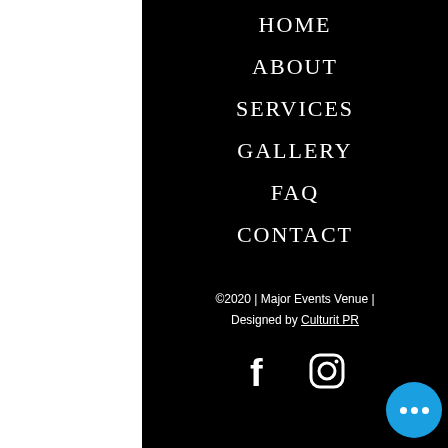HOME
ABOUT
SERVICES
GALLERY
FAQ
CONTACT
©2020 | Major Events Venue | Designed by Culturit PR
[Figure (illustration): Facebook and Instagram social media icons in white on black background, and a blue circular chat button with three dots in the bottom right corner]